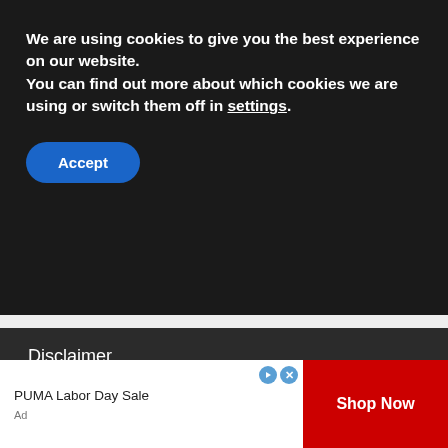We are using cookies to give you the best experience on our website.
You can find out more about which cookies we are using or switch them off in settings.
Accept
[Figure (other): Loading spinner with green dots arranged in a circular pattern inside a white box]
Disclaimer
FamilyHW.com is a participant in the
PUMA Labor Day Sale
Shop Now
Ad